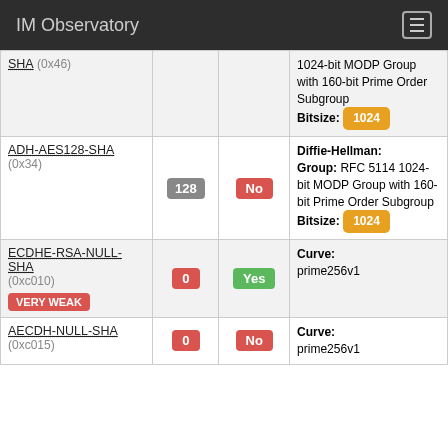IM Observatory
| Cipher | Bits | FS | Info |
| --- | --- | --- | --- |
| SHA (0x46) |  |  | 1024-bit MODP Group with 160-bit Prime Order Subgroup Bitsize: 1024 |
| ADH-AES128-SHA (0x34) | 128 | No | Diffie-Hellman: Group: RFC 5114 1024-bit MODP Group with 160-bit Prime Order Subgroup Bitsize: 1024 |
| ECDHE-RSA-NULL-SHA (0xc010) VERY WEAK | 0 | Yes | Curve: prime256v1 |
| AECDH-NULL-SHA (0xc015) | 0 | No | Curve: prime256v1 |